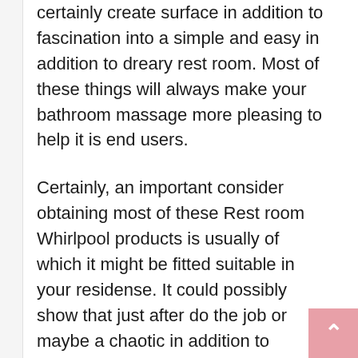certainly create surface in addition to fascination into a simple and easy in addition to dreary rest room. Most of these things will always make your bathroom massage more pleasing to help it is end users.
Certainly, an important consider obtaining most of these Rest room Whirlpool products is usually of which it might be fitted suitable in your residense. It could possibly show that just after do the job or maybe a chaotic in addition to strenuous time; you possibly can speed property and revel in this fulfilment connected with showering of your extravagance whirlpool bathroom. Quite a few also is of which on the beyond, this whirlpool bathroom possesses underwent important progress possesses at